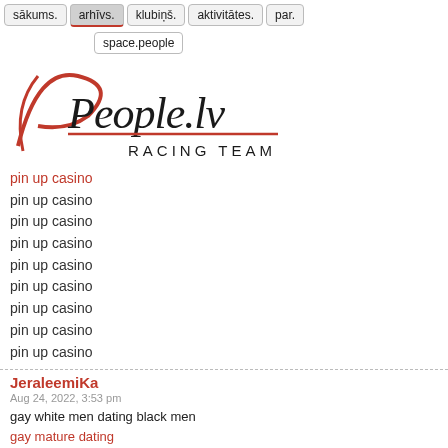sākums. | arhīvs. | klubiņš. | aktivitātes. | par. | space.people
[Figure (logo): People.lv Racing Team logo with red stylized 'P' and italic script text]
pin up casino (red, visited link)
pin up casino
pin up casino
pin up casino
pin up casino
pin up casino
pin up casino
pin up casino
pin up casino
JeraleemiKa
Aug 24, 2022, 3:53 pm
gay white men dating black men
gay mature dating
gay dating search for free
JoannmiKa
Aug 24, 2022, 4:27 pm